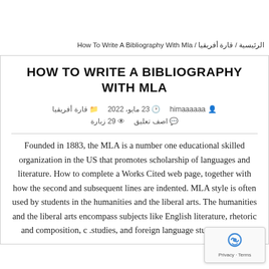الرئيسية / قارة أفريقيا / How To Write A Bibliography With Mla
HOW TO WRITE A BIBLIOGRAPHY WITH MLA
himaaaaaa   23 مايو، 2022   قارة أفريقيا
aصف تعليق   29 زبارة
Founded in 1883, the MLA is a number one educational skilled organization in the US that promotes scholarship of languages and literature. How to complete a Works Cited web page, together with how the second and subsequent lines are indented. MLA style is often used by students in the humanities and the liberal arts. The humanities and the liberal arts encompass subjects like English literature, rhetoric and composition, c studies, and foreign language studies and lite